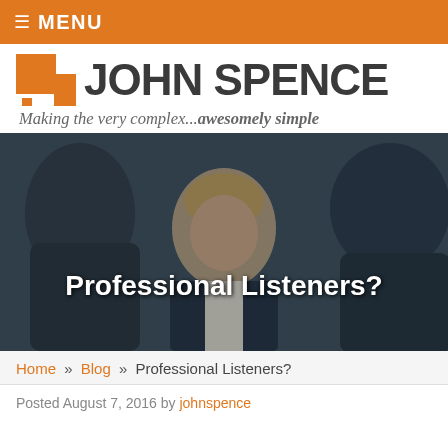≡ MENU
[Figure (logo): John Spence logo with orange arrow icon and bold dark text JOHN SPENCE, tagline: Making the very complex...awesomely simple]
[Figure (photo): Photo of a woman in a business/professional setting, appearing to listen attentively, with overlaid text 'Professional Listeners?']
Home » Blog » Professional Listeners?
Posted August 7, 2016 by johnspence